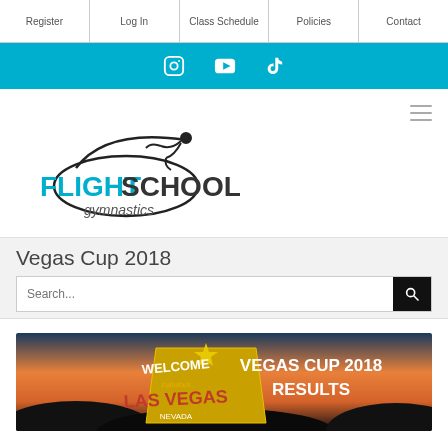Register | Log In | Class Schedule | Policies | Contact
[Figure (screenshot): Social media icons: Instagram, YouTube, TikTok on cyan background]
[Figure (logo): Flight School Gymnastics logo with gymnast silhouette]
Vegas Cup 2018
[Figure (screenshot): Search bar with magnifying glass button]
[Figure (photo): Vegas Cup 2018 Results banner showing Welcome to Las Vegas sign at dusk with text VEGAS CUP 2018 RESULTS]